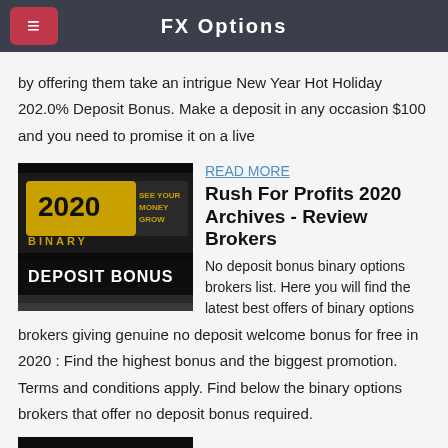FX Options
by offering them take an intrigue New Year Hot Holiday 202.0% Deposit Bonus. Make a deposit in any occasion $100 and you need to promise it on a live
[Figure (photo): 2020 Binary Deposit Bonus promotional image with gold coins and text 'SEE YOUR MONEY GROW']
Rush For Profits 2020 Archives - Review Brokers
No deposit bonus binary options brokers list. Here you will find the latest best offers of binary options brokers giving genuine no deposit welcome bonus for free in 2020 : Find the highest bonus and the biggest promotion. Terms and conditions apply. Find below the binary options brokers that offer no deposit bonus required.
[Figure (photo): Pocket Option logo on dark background]